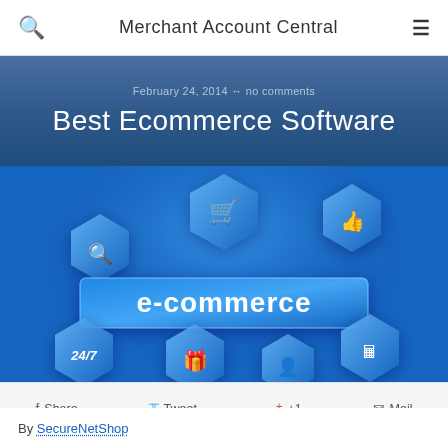Merchant Account Central
February 24, 2014 ↔ no comments
Best Ecommerce Software
[Figure (illustration): E-commerce concept illustration with blue hexagonal icons showing shopping cart, thumbs up, magnifying glass, gift box, person, calculator/register, 24/7 text, and central 'e-commerce' banner on blue gradient background]
f Share   y Tweet   g+ +1   ✉ Mail
By SecureNetShop